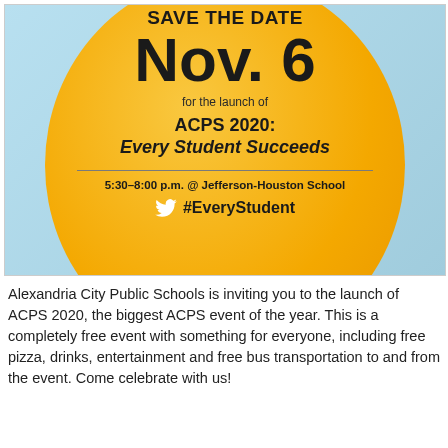[Figure (infographic): Save the Date flyer with orange/gold circle on light blue background. Text inside circle: SAVE THE DATE, Nov. 6, for the launch of, ACPS 2020: Every Student Succeeds, 5:30-8:00 p.m. @ Jefferson-Houston School, #EveryStudent with Twitter bird icon.]
Alexandria City Public Schools is inviting you to the launch of ACPS 2020, the biggest ACPS event of the year. This is a completely free event with something for everyone, including free pizza, drinks, entertainment and free bus transportation to and from the event. Come celebrate with us!